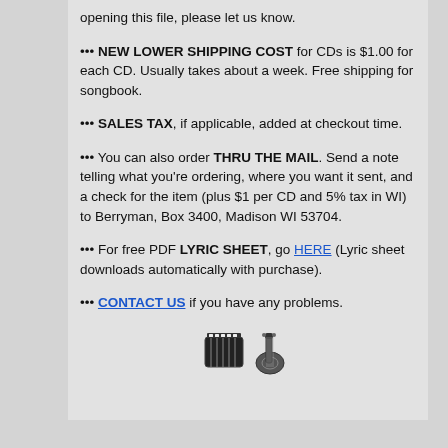opening this file, please let us know.
••• NEW LOWER SHIPPING COST for CDs is $1.00 for each CD. Usually takes about a week. Free shipping for songbook.
••• SALES TAX, if applicable, added at checkout time.
••• You can also order THRU THE MAIL. Send a note telling what you're ordering, where you want it sent, and a check for the item (plus $1 per CD and 5% tax in WI) to Berryman, Box 3400, Madison WI 53704.
••• For free PDF LYRIC SHEET, go HERE (Lyric sheet downloads automatically with purchase).
••• CONTACT US if you have any problems.
[Figure (logo): Small accordion and guitar icon/logo]